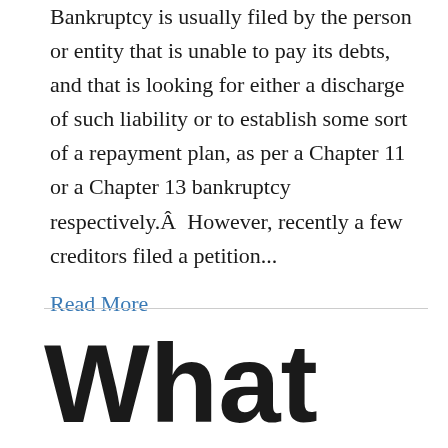Bankruptcy is usually filed by the person or entity that is unable to pay its debts, and that is looking for either a discharge of such liability or to establish some sort of a repayment plan, as per a Chapter 11 or a Chapter 13 bankruptcy respectively.Â  However, recently a few creditors filed a petition...
Read More
What happens